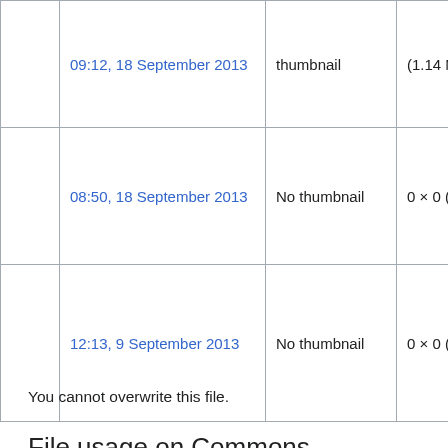|  | Date/Time | Thumbnail | Dimensions |
| --- | --- | --- | --- |
|  | 09:12, 18 September 2013 | thumbnail | (1.14 MB) |
|  | 08:50, 18 September 2013 | No thumbnail | 0 × 0 (1 M…) |
|  | 12:13, 9 September 2013 | No thumbnail | 0 × 0 (3.07 MB) |
You cannot overwrite this file.
File usage on Commons
There are no pages that use this file.
File usage on other wikis